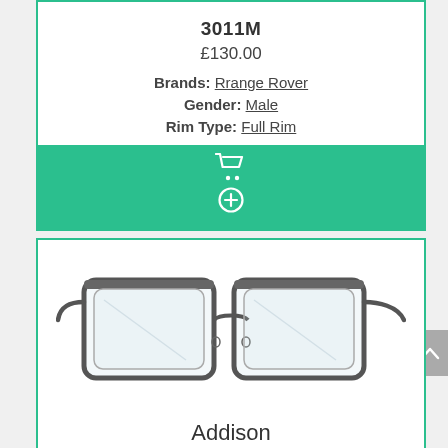3011M
£130.00
Brands: Rrange Rover
Gender: Male
Rim Type: Full Rim
[Figure (illustration): Shopping cart icon and plus/add icon on green background bar]
[Figure (photo): Silver/grey rectangular full-rim eyeglasses frames - Addison model]
Addison
£99.00
Gender: Male